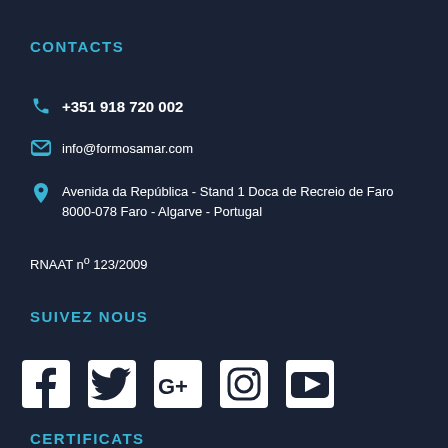CONTACTS
+351 918 720 002
info@formosamar.com
Avenida da República - Stand 1 Doca de Recreio de Faro 8000-078 Faro - Algarve - Portugal
RNAAT nº 123/2009
SUIVEZ NOUS
[Figure (illustration): Social media icons: Facebook, Twitter, Google+, Instagram, YouTube]
CERTIFICATS